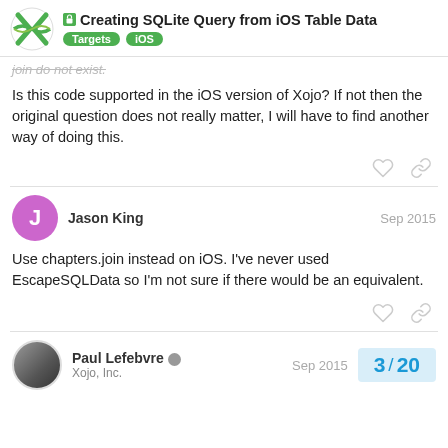Creating SQLite Query from iOS Table Data — Targets | iOS
join do not exist.
Is this code supported in the iOS version of Xojo? If not then the original question does not really matter, I will have to find another way of doing this.
Jason King — Sep 2015
Use chapters.join instead on iOS. I've never used EscapeSQLData so I'm not sure if there would be an equivalent.
Paul Lefebvre — Xojo, Inc. — Sep 2015
3 / 20